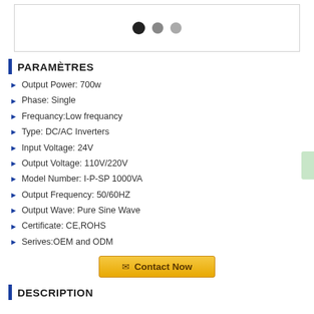[Figure (other): Image carousel placeholder with three navigation dots (black, gray, light gray)]
PARAMÈTRES
Output Power: 700w
Phase: Single
Frequancy:Low frequancy
Type: DC/AC Inverters
Input Voltage: 24V
Output Voltage: 110V/220V
Model Number: I-P-SP 1000VA
Output Frequency: 50/60HZ
Output Wave: Pure Sine Wave
Certificate: CE,ROHS
Serives:OEM and ODM
[Figure (other): Contact Now button with envelope icon, golden/amber background]
DESCRIPTION